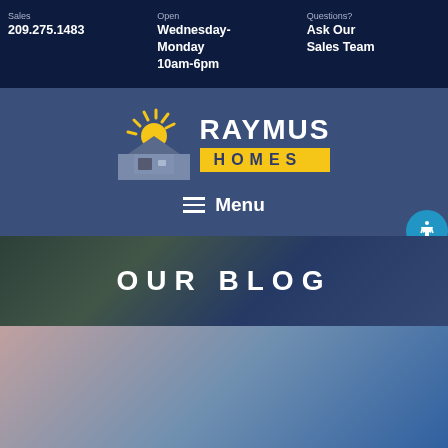Sales 209.275.1483 | Open Wednesday-Monday 10am-6pm | Questions? Ask Our Sales Team
[Figure (logo): Raymus Homes logo: sun rising over rooftop illustration with RAYMUS text and HOMES in yellow box]
Menu
OUR BLOG
[Figure (photo): Blurred photo showing person in foreground with blue background, blog article preview image]